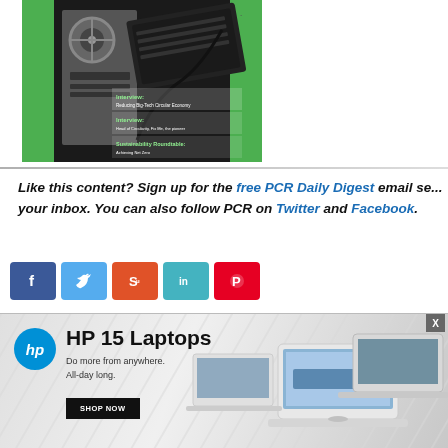[Figure (photo): Magazine cover showing computer equipment in a green trash bin, with overlaid text labels for Interview and Sustainability Roundtable sections]
Like this content? Sign up for the free PCR Daily Digest email se... your inbox. You can also follow PCR on Twitter and Facebook.
[Figure (infographic): Row of social share buttons: Facebook (blue), Twitter (light blue), StumbleUpon (orange-red), LinkedIn (teal), Pinterest (red)]
[Figure (photo): HP advertisement banner: HP 15 Laptops — Do more from anywhere. All-day long. SHOP NOW button. Shows laptop images on grey diagonal background.]